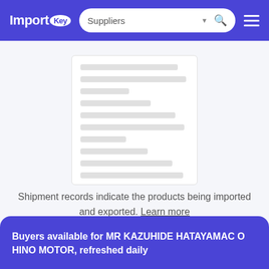ImportKey — Suppliers search bar navigation
[Figure (screenshot): Blurred skeleton card showing redacted shipment record lines as grey placeholder bars]
Shipment records indicate the products being imported and exported. Learn more
Buyers available for MR KAZUHIDE HATAYAMAC O HINO MOTOR, refreshed daily